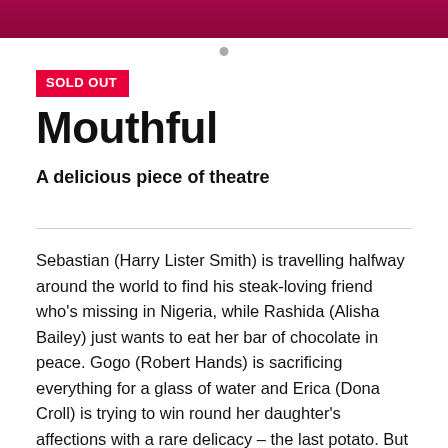[Figure (photo): Top banner image of people, partially visible, with pink/magenta gradient overlay]
SOLD OUT
Mouthful
A delicious piece of theatre
Sebastian (Harry Lister Smith) is travelling halfway around the world to find his steak-loving friend who's missing in Nigeria, while Rashida (Alisha Bailey) just wants to eat her bar of chocolate in peace. Gogo (Robert Hands) is sacrificing everything for a glass of water and Erica (Dona Croll) is trying to win round her daughter's affections with a rare delicacy – the last potato. But whatever you do, don't try one of Ruth's carrots. Mouthful wraps a global issue like the food crisis in a web of humour and fine acting. Coming to you from six of the world's leading dramatists in